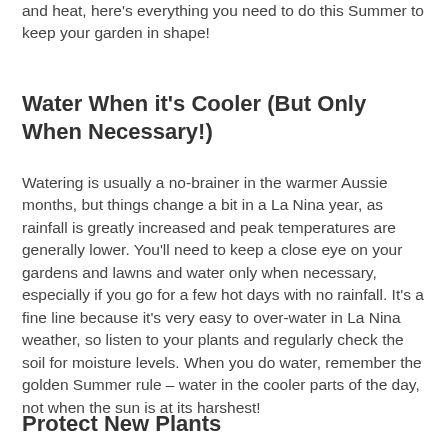and heat, here's everything you need to do this Summer to keep your garden in shape!
Water When it's Cooler (But Only When Necessary!)
Watering is usually a no-brainer in the warmer Aussie months, but things change a bit in a La Nina year, as rainfall is greatly increased and peak temperatures are generally lower. You'll need to keep a close eye on your gardens and lawns and water only when necessary, especially if you go for a few hot days with no rainfall. It's a fine line because it's very easy to over-water in La Nina weather, so listen to your plants and regularly check the soil for moisture levels. When you do water, remember the golden Summer rule – water in the cooler parts of the day, not when the sun is at its harshest!
Protect New Plants